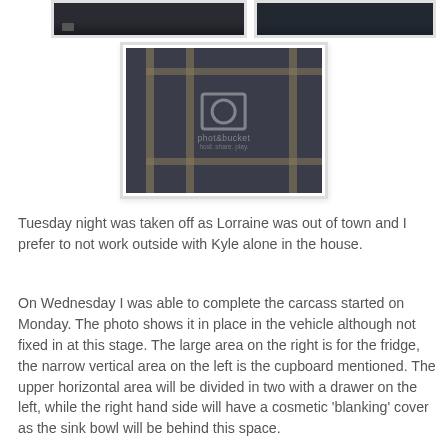[Figure (photo): Two dark/dim photo thumbnails at top of page showing interior scenes]
[Figure (photo): Central photograph showing a wooden carcass/frame structure placed inside a vehicle, with a Photobucket watermark overlay. Shows wooden frame sections - tall vertical section on left (cupboard), large area on right (fridge), upper horizontal area.]
Tuesday night was taken off as Lorraine was out of town and I prefer to not work outside with Kyle alone in the house.
On Wednesday I was able to complete the carcass started on Monday. The photo shows it in place in the vehicle although not fixed in at this stage. The large area on the right is for the fridge, the narrow vertical area on the left is the cupboard mentioned. The upper horizontal area will be divided in two with a drawer on the left, while the right hand side will have a cosmetic 'blanking' cover as the sink bowl will be behind this space.